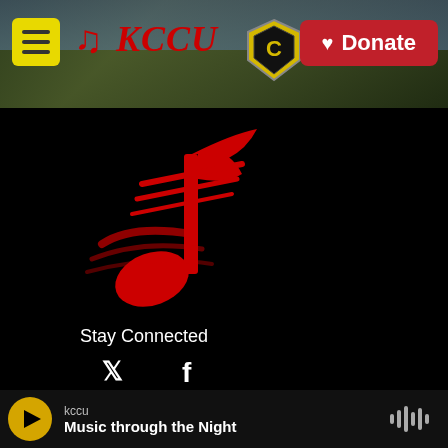[Figure (screenshot): KCCU radio website header with menu button, KCCU logo with music note, university logo, and red Donate button, over a background photo of university campus]
[Figure (logo): KCCU red music note logo on black background]
Stay Connected
[Figure (infographic): Twitter bird icon and Facebook 'f' icon for social media links]
© 2022 KCCU
About
PSA Policy
[Figure (infographic): Audio player bar at bottom: yellow play button, kccu station label, 'Music through the Night' track title, waveform icon]